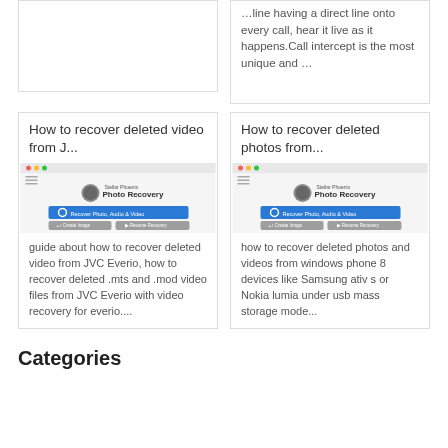line onto every call, hear it live as it happens.Call intercept is the most unique and ...
How to recover deleted video from J...
[Figure (screenshot): Stellar Phoenix Photo Recovery software screenshot showing Recover Photo Audio & Video button and Create Image / Resume Recovery buttons]
guide about how to recover deleted video from JVC Everio, how to recover deleted .mts and .mod video files from JVC Everio with video recovery for everio....
How to recover deleted photos from...
[Figure (screenshot): Stellar Phoenix Photo Recovery software screenshot showing Recover Photo Audio & Video button and Create Image / Resume Recovery buttons]
how to recover deleted photos and videos from windows phone 8 devices like Samsung ativ s or Nokia lumia under usb mass storage mode...
Categories